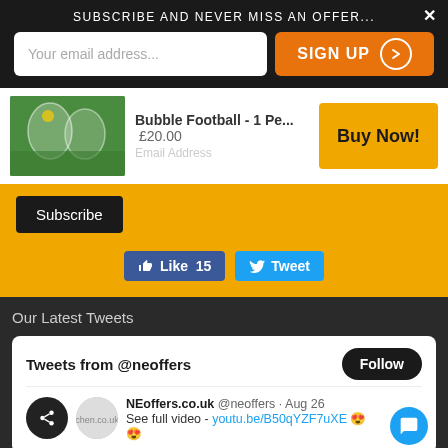SUBSCRIBE AND NEVER MISS AN OFFER...
Your email address...
SIGN UP
Bubble Football - 1 Pe...  £20.00
Buy Now!
Subscribe
Like 15
Tweet
Our Latest Tweets
Tweets from @neoffers
Follow
NEoffers.co.uk @neoffers · Aug 26
See full video - youtu.be/B50qYZF7uXE 😍
😍